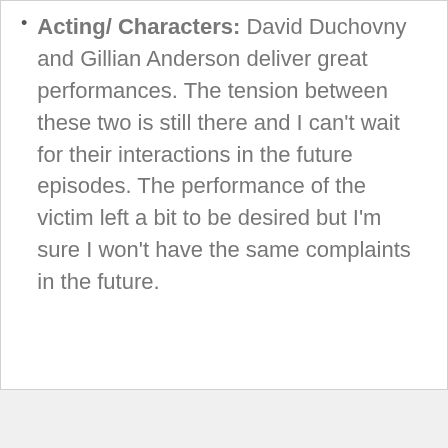Acting/ Characters: David Duchovny and Gillian Anderson deliver great performances. The tension between these two is still there and I can't wait for their interactions in the future episodes. The performance of the victim left a bit to be desired but I'm sure I won't have the same complaints in the future.
Cinematography: It certainly looks like the X-Files